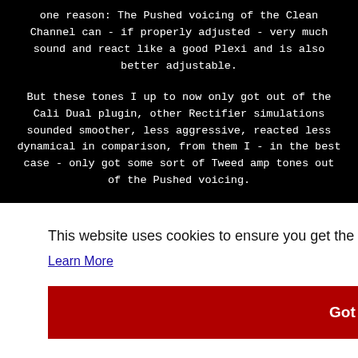one reason: The Pushed voicing of the Clean Channel can - if properly adjusted - very much sound and react like a good Plexi and is also better adjustable.
But these tones I up to now only got out of the Cali Dual plugin, other Rectifier simulations sounded smoother, less aggressive, reacted less dynamical in comparison, from them I - in the best case - only got some sort of Tweed amp tones out of the Pushed voicing.
e does
heless
ourse
you're
This website uses cookies to ensure you get the best experience on our website.
Learn More
Got it!